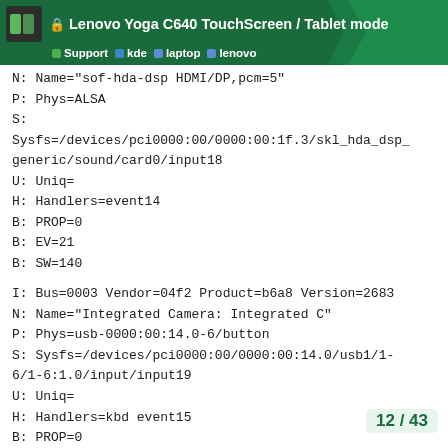🔒 Lenovo Yoga C640 TouchScreen / Tablet mode | Support kde laptop lenovo
N: Name="sof-hda-dsp HDMI/DP,pcm=5"
P: Phys=ALSA
S:
Sysfs=/devices/pci0000:00/0000:00:1f.3/skl_hda_dsp_generic/sound/card0/input18
U: Uniq=
H: Handlers=event14
B: PROP=0
B: EV=21
B: SW=140

I: Bus=0003 Vendor=04f2 Product=b6a8 Version=2683
N: Name="Integrated Camera: Integrated C"
P: Phys=usb-0000:00:14.0-6/button
S: Sysfs=/devices/pci0000:00/0000:00:14.0/usb1/1-6/1-6:1.0/input/input19
U: Uniq=
H: Handlers=kbd event15
B: PROP=0
12 / 43